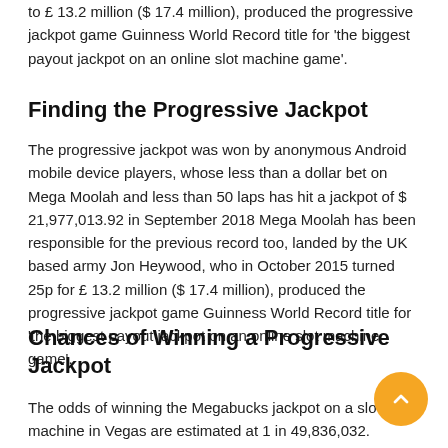to £ 13.2 million ($ 17.4 million), produced the progressive jackpot game Guinness World Record title for 'the biggest payout jackpot on an online slot machine game'.
Finding the Progressive Jackpot
The progressive jackpot was won by anonymous Android mobile device players, whose less than a dollar bet on Mega Moolah and less than 50 laps has hit a jackpot of $ 21,977,013.92 in September 2018 Mega Moolah has been responsible for the previous record too, landed by the UK based army Jon Heywood, who in October 2015 turned 25p for £ 13.2 million ($ 17.4 million), produced the progressive jackpot game Guinness World Record title for 'the biggest payout jackpot on an online slot machine game'.
Chances of Winning a Progressive Jackpot
The odds of winning the Megabucks jackpot on a slot machine in Vegas are estimated at 1 in 49,836,032.